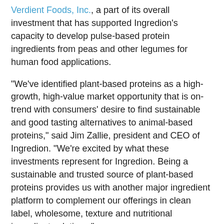Verdient Foods, Inc., a part of its overall investment that has supported Ingredion's capacity to develop pulse-based protein ingredients from peas and other legumes for human food applications.
"We've identified plant-based proteins as a high-growth, high-value market opportunity that is on-trend with consumers' desire to find sustainable and good tasting alternatives to animal-based proteins," said Jim Zallie, president and CEO of Ingredion. "We're excited by what these investments represent for Ingredion. Being a sustainable and trusted source of plant-based proteins provides us with another major ingredient platform to complement our offerings in clean label, wholesome, texture and nutritional ingredient solutions."
Consumer preferences have long been driving pet food trends. The push for clean label, sustainable pet food products have placed plant-based proteins front and center as pet owners become increasingly concerned about the overall health and